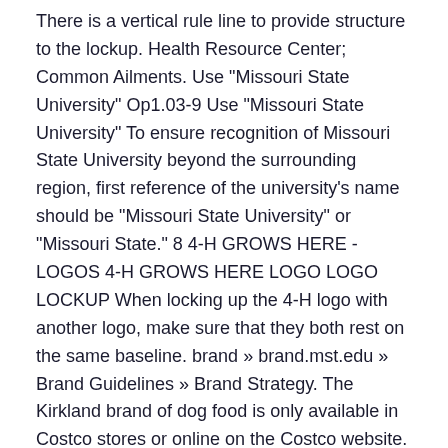There is a vertical rule line to provide structure to the lockup. Health Resource Center; Common Ailments. Use "Missouri State University" Op1.03-9 Use "Missouri State University" To ensure recognition of Missouri State University beyond the surrounding region, first reference of the university's name should be "Missouri State University" or "Missouri State." 8 4-H GROWS HERE - LOGOS 4-H GROWS HERE LOGO LOGO LOCKUP When locking up the 4-H logo with another logo, make sure that they both rest on the same baseline. brand » brand.mst.edu » Brand Guidelines » Brand Strategy. The Kirkland brand of dog food is only available in Costco stores or online on the Costco website. It acts as a signature, an identifier and a stamp of quality. Athletic Shoes; Boots; Casual Shoes; Clogs; Sandals; All Sale; Men's Sale. Supporting